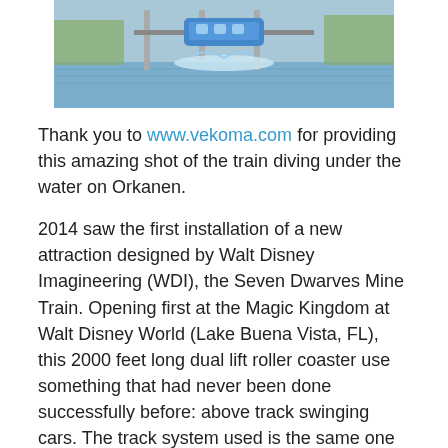[Figure (photo): Photo of a roller coaster train diving under water on Orkanen attraction, with water splash visible]
Thank you to www.vekoma.com for providing this amazing shot of the train diving under the water on Orkanen.
2014 saw the first installation of a new attraction designed by Walt Disney Imagineering (WDI), the Seven Dwarves Mine Train. Opening first at the Magic Kingdom at Walt Disney World (Lake Buena Vista, FL), this 2000 feet long dual lift roller coaster use something that had never been done successfully before: above track swinging cars. The track system used is the same one as Everest, as even through it is a family roller coaster that has a 41 feet drop as its biggest drop, the unusual forces exerted by the swinging required the sturdiest track possible.
The cars are shaped and patterned after antique mine